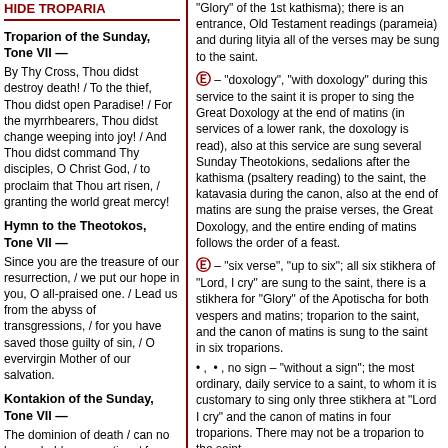HIDE TROPARIA
Troparion of the Sunday, Tone VII —
By Thy Cross, Thou didst destroy death! / To the thief, Thou didst open Paradise! / For the myrrhbearers, Thou didst change weeping into joy! / And Thou didst command Thy disciples, O Christ God, / to proclaim that Thou art risen, / granting the world great mercy!
Hymn to the Theotokos, Tone VII —
Since you are the treasure of our resurrection, / we put our hope in you, O all-praised one. / Lead us from the abyss of transgressions, / for you have saved those guilty of sin, / O evervirgin Mother of our salvation.
Kontakion of the Sunday, Tone VII —
The dominion of death / can no longer hold men captive, / for Christ descended,
'Glory' of the 1st kathisma); there is an entrance, Old Testament readings (parameia) and during lityia all of the verses may be sung to the saint.
– "doxology", "with doxology" during this service to the saint it is proper to sing the Great Doxology at the end of matins (in services of a lower rank, the doxology is read), also at this service are sung several Sunday Theotokions, sedalions after the kathisma (psaltery reading) to the saint, the katavasia during the canon, also at the end of matins are sung the praise verses, the Great Doxology, and the entire ending of matins follows the order of a feast.
– "six verse", "up to six"; all six stikhera of "Lord, I cry" are sung to the saint, there is a stikhera for "Glory" of the Apotischa for both vespers and matins; troparion to the saint, and the canon of matins is sung to the saint in six troparions.
, , no sign – "without a sign"; the most ordinary, daily service to a saint, to whom it is customary to sing only three stikhera at "Lord I cry" and the canon of matins in four troparions. There may not be a troparion to the saint.